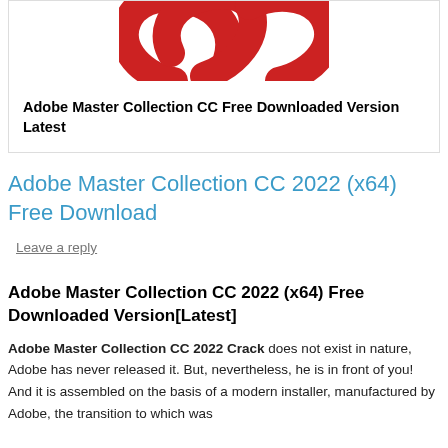[Figure (logo): Adobe Creative Cloud red swirl logo (partial, top cropped)]
Adobe Master Collection CC Free Downloaded Version Latest
Adobe Master Collection CC 2022 (x64) Free Download
Leave a reply
Adobe Master Collection CC 2022 (x64) Free Downloaded Version[Latest]
Adobe Master Collection CC 2022 Crack does not exist in nature, Adobe has never released it. But, nevertheless, he is in front of you! And it is assembled on the basis of a modern installer, manufactured by Adobe, the transition to which was